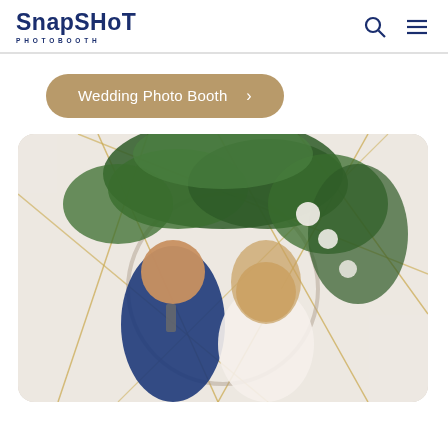[Figure (logo): Snapshot Photobooth logo — stylized text in navy blue with 'SnapShot' in large bold font and 'PHOTOBOOTH' in small caps below]
Wedding Photo Booth >
[Figure (photo): Wedding couple photo booth picture: a man in a navy suit and a woman in a white dress, smiling together in front of a white geometric gold-line backdrop with a large floral arch of greenery and white flowers above them]